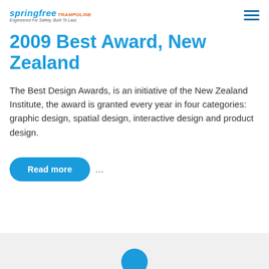springfree TRAMPOLINE — Engineered For Safety. Built To Last.
2009 Best Award, New Zealand
The Best Design Awards, is an initiative of the New Zealand Institute, the award is granted every year in four categories: graphic design, spatial design, interactive design and product design.
Read more ...